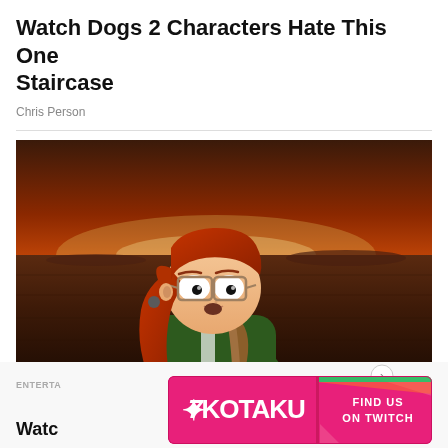Watch Dogs 2 Characters Hate This One Staircase
Chris Person
[Figure (illustration): Animated cartoon character with red hair in a ponytail, wearing glasses and a green hoodie with a backpack, standing against a dramatic orange-red sunset sky background. The art style resembles Rick and Morty animation.]
ENTERTA
EARS AGO
Watc
[Figure (logo): Kotaku advertisement banner with pink/magenta background. Left side shows the Kotaku logo in white with stylized 'K'. Right side has a pink button saying 'FIND US ON TWITCH' with orange and green diagonal stripe accents.]